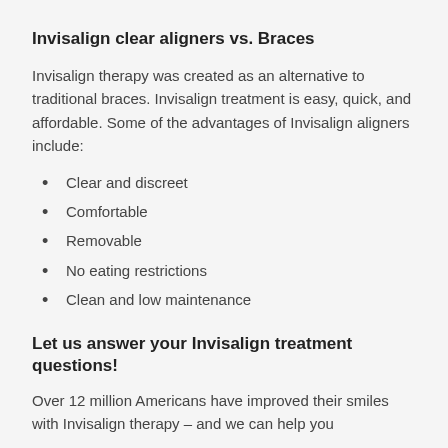Invisalign clear aligners vs. Braces
Invisalign therapy was created as an alternative to traditional braces. Invisalign treatment is easy, quick, and affordable. Some of the advantages of Invisalign aligners include:
Clear and discreet
Comfortable
Removable
No eating restrictions
Clean and low maintenance
Let us answer your Invisalign treatment questions!
Over 12 million Americans have improved their smiles with Invisalign therapy – and we can help you